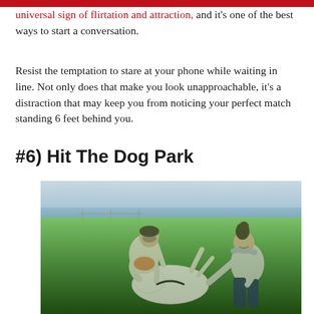universal sign of flirtation and attraction, and it's one of the best ways to start a conversation.
Resist the temptation to stare at your phone while waiting in line. Not only does that make you look unapproachable, it's a distraction that may keep you from noticing your perfect match standing 6 feet behind you.
#6) Hit The Dog Park
[Figure (photo): Two people playing with a white dog lying on its back on a grassy area near water. A man leans over the dog from the left while a woman crouches on the right, both smiling and interacting with the dog.]